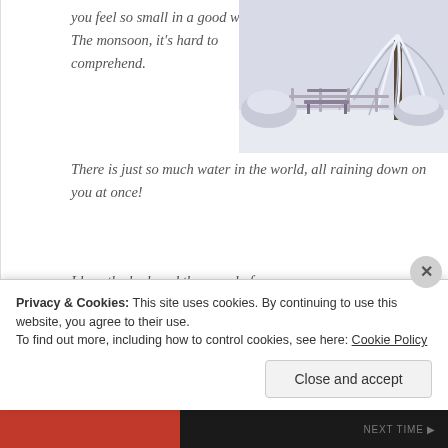you feel so small in a good way. The monsoon, it's hard to comprehend.
[Figure (photo): Snow-covered tree and bench in a wintery scene, black and white tones]
There is just so much water in the world, all raining down on you at once!
I love the look and the sound of snow.
I love when you're all warm and cozy next to a fire with a nice hot cuppa and u can hear pitta patter on the window.
[Figure (photo): Mountain landscape with snow-covered pine trees and peaks under blue sky]
Privacy & Cookies: This site uses cookies. By continuing to use this website, you agree to their use.
To find out more, including how to control cookies, see here: Cookie Policy
Close and accept